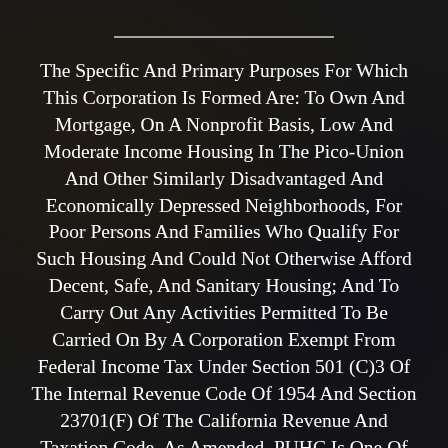The Specific And Primary Purposes For Which This Corporation Is Formed Are: To Own And Mortgage, On A Nonprofit Basis, Low And Moderate Income Housing In The Pico-Union And Other Similarly Disadvantaged And Economically Depressed Neighborhoods, For Poor Persons And Families Who Qualify For Such Housing And Could Not Otherwise Afford Decent, Safe, And Sanitary Housing; And To Carry Out Any Activities Permitted To Be Carried On By A Corporation Exempt From Federal Income Tax Under Section 501 (C)3 Of The Internal Revenue Code Of 1954 And Section 23701(F) Of The California Revenue And Taxation Code, As Amended. PUHC Is One Of The Oldest Grass Roots Organizations And One Of The Leading Community Based Non-Profit